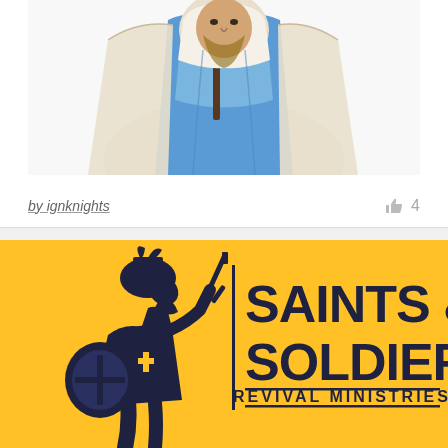[Figure (illustration): Illustrated figure of a person in blue and white robes holding a staff, wearing white head covering, depicted in comic/cartoon style]
by ignknights
👍 4
[Figure (logo): Saints & Soldiers Revival Ministries logo on yellow/gold background — dark silhouette of Roman soldier with helmet, sword, and shield next to bold text reading SAINTS & SOLDIERS with REVIVAL MINISTRIES below in smaller caps]